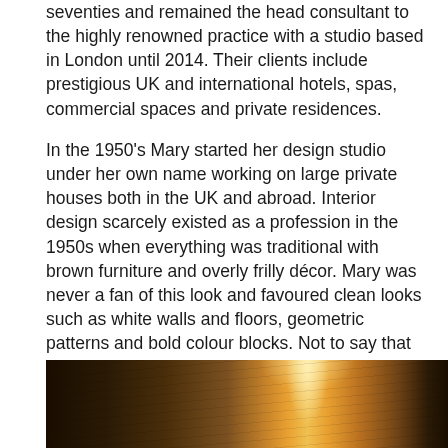seventies and remained the head consultant to the highly renowned practice with a studio based in London until 2014. Their clients include prestigious UK and international hotels, spas, commercial spaces and private residences.
In the 1950's Mary started her design studio under her own name working on large private houses both in the UK and abroad. Interior design scarcely existed as a profession in the 1950s when everything was traditional with brown furniture and overly frilly décor. Mary was never a fan of this look and favoured clean looks such as white walls and floors, geometric patterns and bold colour blocks. Not to say that Mary didn't love antique furniture – she constantly searched for pieces that looked suitable for both modern and historic settings – it was reproduction furniture that didn't appeal to her sense that 'all things should be real'
[Figure (photo): A photograph showing a warm amber/orange glow, likely candlelight or lamp light on a wooden surface, with dark background and branch-like shapes visible]